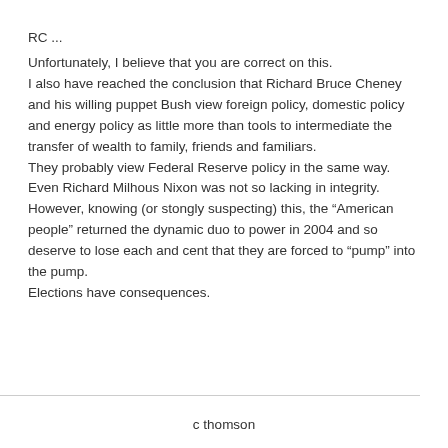RC ...
Unfortunately, I believe that you are correct on this. I also have reached the conclusion that Richard Bruce Cheney and his willing puppet Bush view foreign policy, domestic policy and energy policy as little more than tools to intermediate the transfer of wealth to family, friends and familiars. They probably view Federal Reserve policy in the same way. Even Richard Milhous Nixon was not so lacking in integrity. However, knowing (or stongly suspecting) this, the “American people” returned the dynamic duo to power in 2004 and so deserve to lose each and cent that they are forced to “pump” into the pump. Elections have consequences.
c thomson